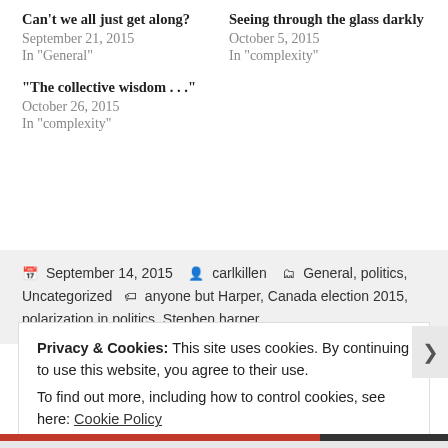Can't we all just get along?
September 21, 2015
In "General"
Seeing through the glass darkly
October 5, 2015
In "complexity"
“The collective wisdom . . .”
October 26, 2015
In "complexity"
September 14, 2015  carlkillen  General, politics, Uncategorized  anyone but Harper, Canada election 2015, polarization in politics, Stephen harper
Privacy & Cookies: This site uses cookies. By continuing to use this website, you agree to their use.
To find out more, including how to control cookies, see here: Cookie Policy
Close and accept